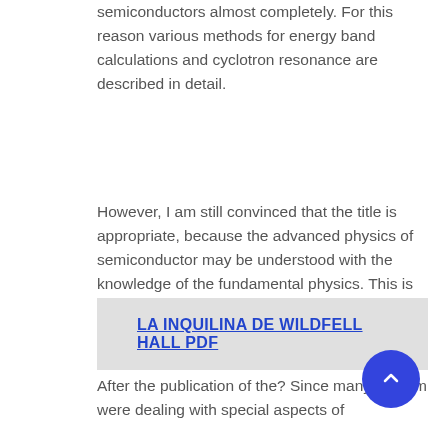semiconductors almost completely. For this reason various methods for energy band calculations and cyclotron resonance are described in detail.
However, I am still convinced that the title is appropriate, because the advanced physics of semiconductor may be understood with the knowledge of the fundamental physics. This is because the large numbers of books dealing with the subjects are available and a big or bulky volume is not accepted by readers.
LA INQUILINA DE WILDFELL HALL PDF
After the publication of the? Since many of them were dealing with special aspects of